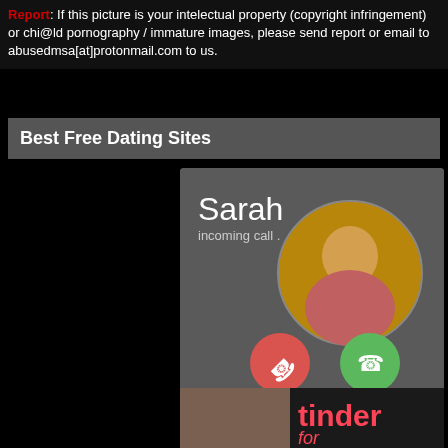Report: If this picture is your intelectual property (copyright infringement) or chi@ld pornography / immature images, please send report or email to abusedmsa[at]protonmail.com to us.
Best Free Dating Sites
[Figure (screenshot): Simulated incoming call screen showing 'Sarah, incoming call ..' with decline and accept buttons]
[Figure (photo): Bottom portion showing a person and Tinder logo/text]